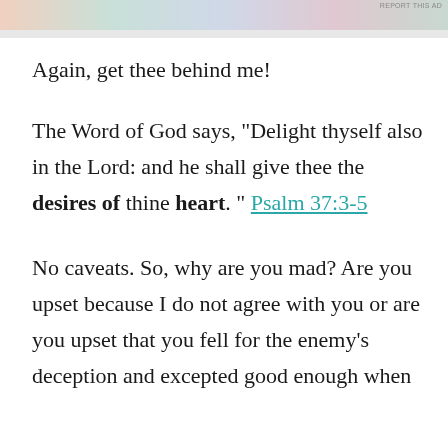[Figure (other): Partial advertisement banner image with colorful background, partially cropped at top of page. Small 'REPORT THIS AD' text in upper right.]
Again, get thee behind me!
The Word of God says, "Delight thyself also in the Lord: and he shall give thee the desires of thine heart. " Psalm 37:3-5
No caveats. So, why are you mad? Are you upset because I do not agree with you or are you upset that you fell for the enemy's deception and excepted good enough when